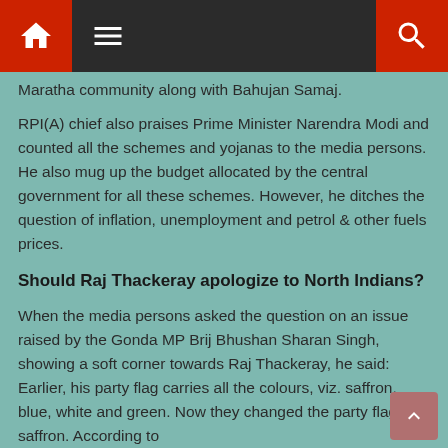Navigation bar with home, menu, and search icons
Maratha community along with Bahujan Samaj.
RPI(A) chief also praises Prime Minister Narendra Modi and counted all the schemes and yojanas to the media persons. He also mug up the budget allocated by the central government for all these schemes. However, he ditches the question of inflation, unemployment and petrol & other fuels prices.
Should Raj Thackeray apologize to North Indians?
When the media persons asked the question on an issue raised by the Gonda MP Brij Bhushan Sharan Singh, showing a soft corner towards Raj Thackeray, he said: Earlier, his party flag carries all the colours, viz. saffron, blue, white and green. Now they changed the party flag to saffron. According to